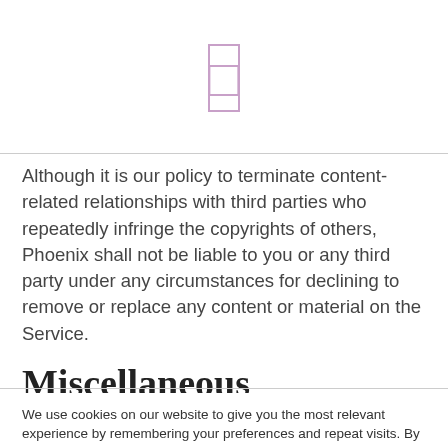[Figure (other): A bracket/rectangle icon rendered in light pink/purple color, centered at the top of the page]
Although it is our policy to terminate content-related relationships with third parties who repeatedly infringe the copyrights of others, Phoenix shall not be liable to you or any third party under any circumstances for declining to remove or replace any content or material on the Service.
Miscellaneous
We use cookies on our website to give you the most relevant experience by remembering your preferences and repeat visits. By clicking “Accept”, you consent to the use of ALL the cookies.
Cookie settings   ACCEPT